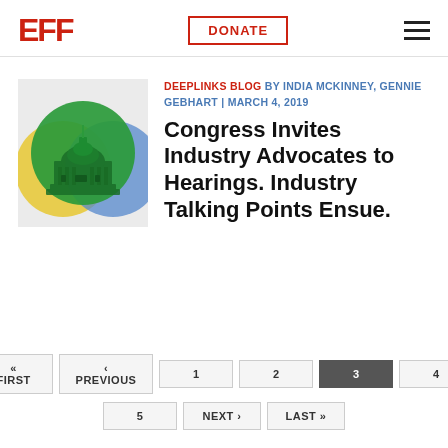EFF | DONATE
[Figure (illustration): EFF Deeplinks blog illustration showing US Capitol building rendered in green with overlapping yellow and blue color circles on a light gray background]
DEEPLINKS BLOG BY INDIA MCKINNEY, GENNIE GEBHART | MARCH 4, 2019
Congress Invites Industry Advocates to Hearings. Industry Talking Points Ensue.
« FIRST ‹ PREVIOUS 1 2 3 4 5 NEXT › LAST »